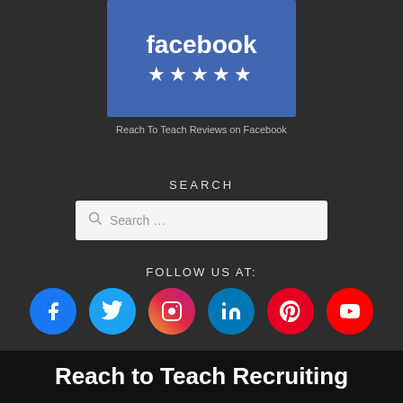[Figure (logo): Facebook logo with 5 stars on blue background]
Reach To Teach Reviews on Facebook
SEARCH
Search …
FOLLOW US AT:
[Figure (illustration): Social media icons: Facebook, Twitter, Instagram, LinkedIn, Pinterest, YouTube]
Reach to Teach Recruiting